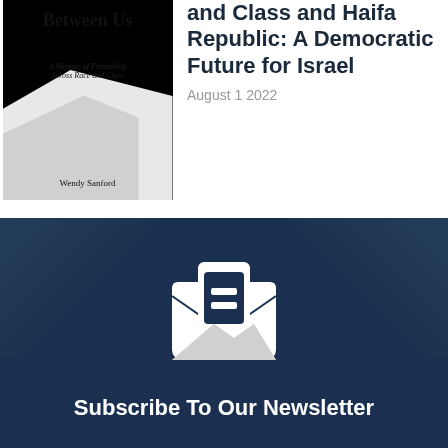[Figure (illustration): Book cover for 'Between Us: A Memoir of Friendship Across Race and Class' by Wendy Sanford. Black and white cover with abstract white clay/landscape shapes against dark background.]
and Class and Haifa Republic: A Democratic Future for Israel
August 1 2022
[Figure (illustration): Newsletter subscription banner with dark navy background, envelope icon with letter inside, and text 'Subscribe To Our Newsletter']
Subscribe To Our Newsletter